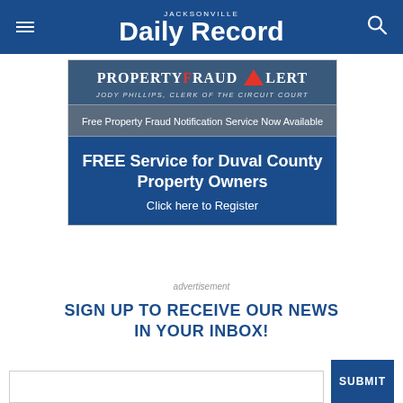JACKSONVILLE Daily Record
[Figure (infographic): Property Fraud Alert advertisement banner for Jody Phillips Clerk of the Circuit Court, advertising a Free Property Fraud Notification Service for Duval County Property Owners with a click here to register call to action.]
advertisement
SIGN UP TO RECEIVE OUR NEWS IN YOUR INBOX!